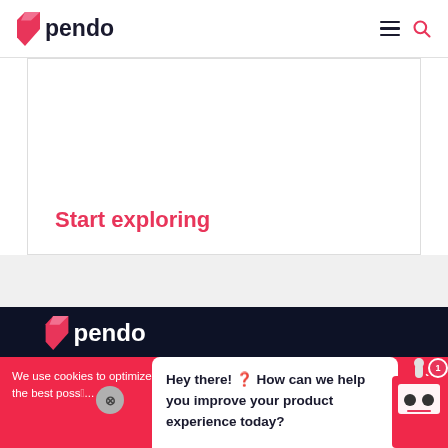pendo — navigation header with logo, hamburger menu, and search icon
Start exploring
[Figure (screenshot): Dark navy footer section with pink Pendo logo]
We use cookies to optimize site functionality and give you the best poss...
Hey there! ? How can we help you improve your product experience today?
[Figure (illustration): Robot chatbot icon with notification badge showing 1]